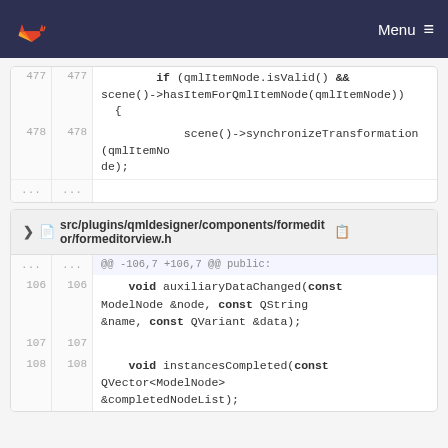Menu
[Figure (screenshot): GitLab code diff showing lines 477-478 with qmlItemNode.isValid() and scene()->hasItemForQmlItemNode and synchronizeTransformation calls]
src/plugins/qmldesigner/components/formeditor/formeditorview.h
[Figure (screenshot): GitLab code diff showing lines 106-108 with auxiliaryDataChanged and instancesCompleted function declarations]
@@ -106,7 +106,7 @@ public: